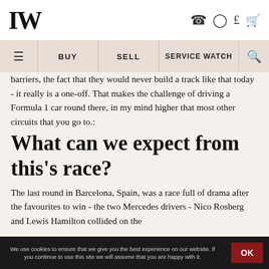LW [logo] with phone, user, currency, cart icons
Navigation: BUY | SELL | SERVICE WATCH | Search
barriers, the fact that they would never build a track like that today - it really is a one-off. That makes the challenge of driving a Formula 1 car round there, in my mind higher that most other circuits that you go to.:
What can we expect from this's race?
The last round in Barcelona, Spain, was a race full of drama after the favourites to win - the two Mercedes drivers - Nico Rosberg and Lewis Hamilton collided on the
We use cookies to ensure that we give you the best experience on our website. If you continue to use this site we will assume that you are happy with it.